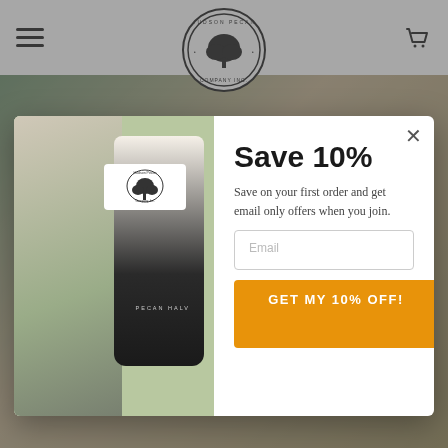Hudson Pecan Company Inc. — navigation header with logo, hamburger menu, and cart icon
[Figure (screenshot): Background page showing food/recipe images and a READ MORE button, dimmed by a modal overlay]
READ MORE
[Figure (infographic): Modal popup with left side showing Hudson Pecan Company bag of Pecan Halves and food imagery, right side with Save 10% offer, email signup field, and GET MY 10% OFF! button]
Save 10%
Save on your first order and get email only offers when you join.
Email
GET MY 10% OFF!